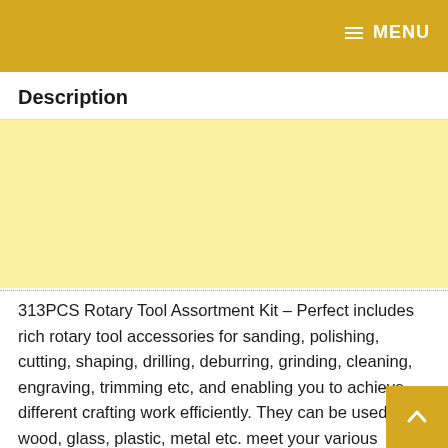MENU
Description
[Figure (other): Advertisement banner with light yellow background]
313PCS Rotary Tool Assortment Kit – Perfect includes rich rotary tool accessories for sanding, polishing, cutting, shaping, drilling, deburring, grinding, cleaning, engraving, trimming etc, and enabling you to achieve different crafting work efficiently. They can be used on wood, glass, plastic, metal etc. meet your various application requirements. Solid Carrying Case – It's more solid, falling resistant, and moisture-proof. All accessories are well organized, easy to place, lightweight, portable for carrying, well organized to prevent scattered and confusion.